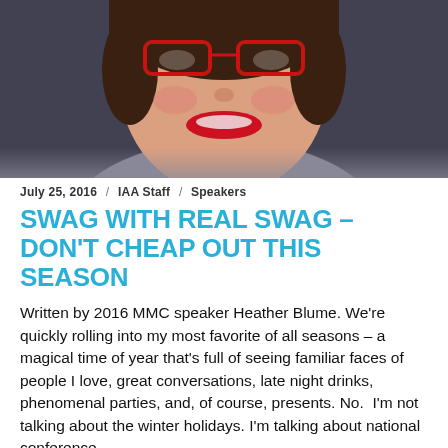[Figure (photo): Headshot photo of a smiling woman with red glasses and red lipstick against a dark background]
July 25, 2016  /  IAA Staff  /  Speakers
SWAG WITH REAL SWAG – DON'T CHEAP OUT THIS SEASON
Written by 2016 MMC speaker Heather Blume. We're quickly rolling into my most favorite of all seasons – a magical time of year that's full of seeing familiar faces of people I love, great conversations, late night drinks, phenomenal parties, and, of course, presents. No.  I'm not talking about the winter holidays. I'm talking about national conference season! But it's that season…